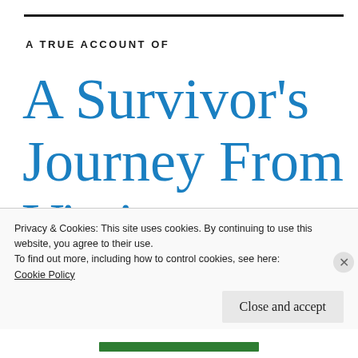A TRUE ACCOUNT OF
A Survivor's Journey From Victim to
Privacy & Cookies: This site uses cookies. By continuing to use this website, you agree to their use.
To find out more, including how to control cookies, see here:
Cookie Policy
Close and accept